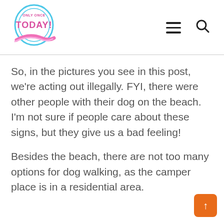[Figure (logo): Only Once Today blog logo — oval shape with blue outline, pink cursive text reading 'ONLY ONCE TODAY', with a pink swoosh ribbon below]
So, in the pictures you see in this post, we're acting out illegally. FYI, there were other people with their dog on the beach. I'm not sure if people care about these signs, but they give us a bad feeling!
Besides the beach, there are not too many options for dog walking, as the camper place is in a residential area.